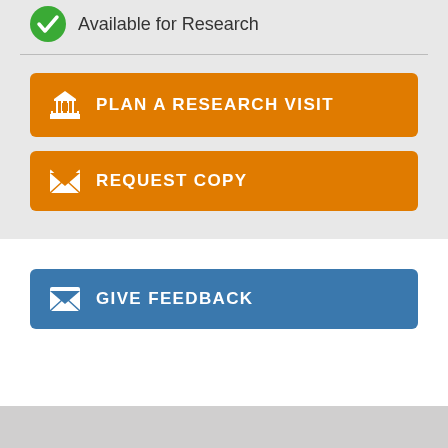Available for Research
PLAN A RESEARCH VISIT
REQUEST COPY
GIVE FEEDBACK